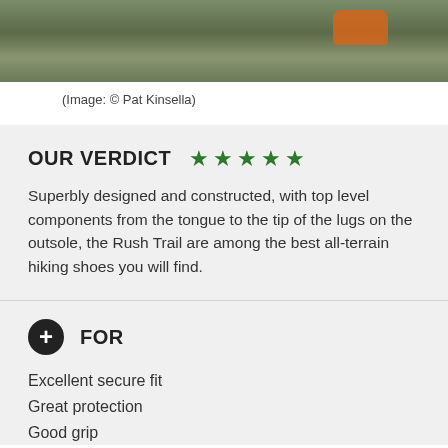[Figure (photo): Partial photo of a hiker on rocky terrain, with orange glove visible on right side]
(Image: © Pat Kinsella)
OUR VERDICT ★★★★★
Superbly designed and constructed, with top level components from the tongue to the tip of the lugs on the outsole, the Rush Trail are among the best all-terrain hiking shoes you will find.
⊕ FOR
Excellent secure fit
Great protection
Good grip